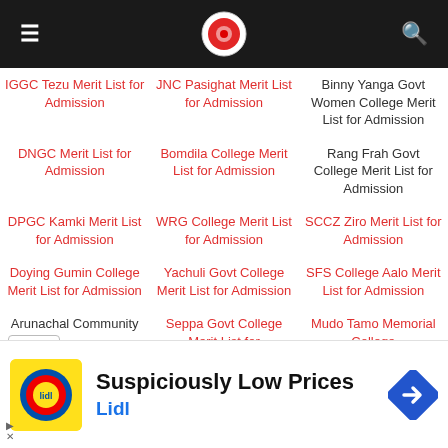The Arunachal Journal (logo)
IGGC Tezu Merit List for Admission
JNC Pasighat Merit List for Admission
Binny Yanga Govt Women College Merit List for Admission
DNGC Merit List for Admission
Bomdila College Merit List for Admission
Rang Frah Govt College Merit List for Admission
DPGC Kamki Merit List for Admission
WRG College Merit List for Admission
SCCZ Ziro Merit List for Admission
Doying Gumin College Merit List for Admission
Yachuli Govt College Merit List for Admission
SFS College Aalo Merit List for Admission
Arunachal Community
Seppa Govt College Merit List for
Mudo Tamo Memorial College
[Figure (illustration): Advertisement: Lidl - Suspiciously Low Prices with Lidl logo and navigation arrow icon]